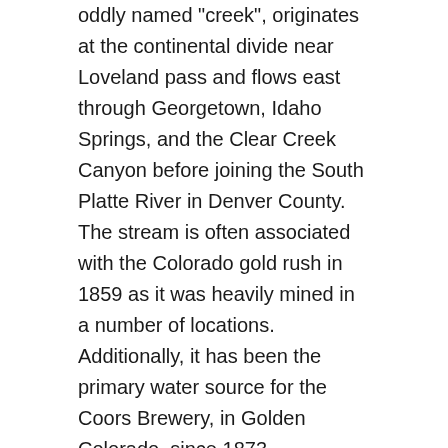oddly named "creek", originates at the continental divide near Loveland pass and flows east through Georgetown, Idaho Springs, and the Clear Creek Canyon before joining the South Platte River in Denver County. The stream is often associated with the Colorado gold rush in 1859 as it was heavily mined in a number of locations. Additionally, it has been the primary water source for the Coors Brewery, in Golden Colorado, since 1873.
Angling
Clear Creek is heavily fished and holds an abundance of insect life and small to mid-sized Brown and Rainbow Trout. It is one of the more accessible fly fishing destinations near Denver